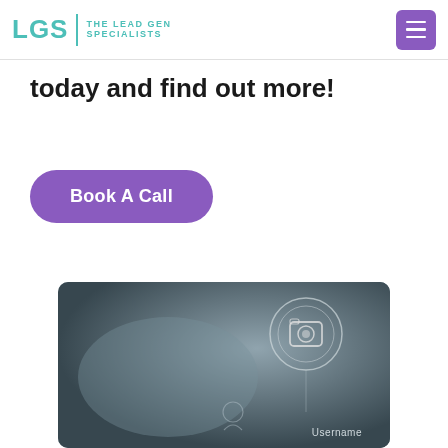LGS | THE LEAD GEN SPECIALISTS
today and find out more!
Book A Call
[Figure (photo): A blurred dark screenshot of a login screen with a camera icon graphic and a Username field label visible in the lower right.]